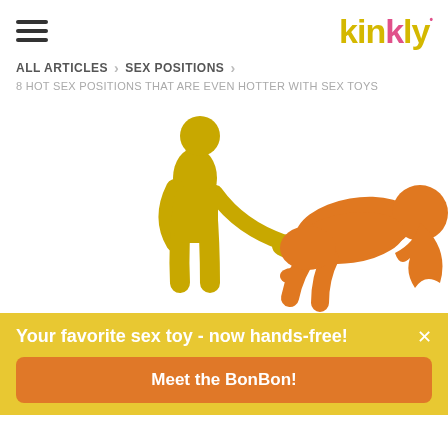kinkly
ALL ARTICLES > SEX POSITIONS >
8 HOT SEX POSITIONS THAT ARE EVEN HOTTER WITH SEX TOYS
[Figure (illustration): Illustrated sex position showing two stylized figures in yellow and orange tones]
Your favorite sex toy - now hands-free!
Meet the BonBon!